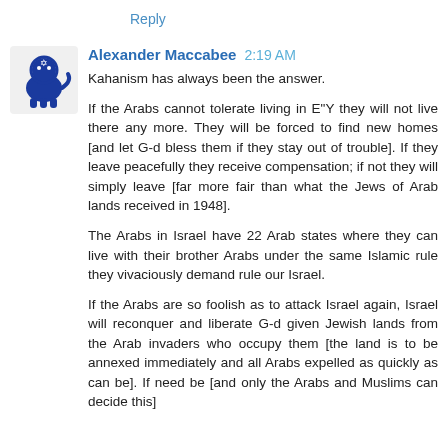Reply
Alexander Maccabee 2:19 AM
Kahanism has always been the answer.

If the Arabs cannot tolerate living in E"Y they will not live there any more. They will be forced to find new homes [and let G-d bless them if they stay out of trouble]. If they leave peacefully they receive compensation; if not they will simply leave [far more fair than what the Jews of Arab lands received in 1948].

The Arabs in Israel have 22 Arab states where they can live with their brother Arabs under the same Islamic rule they vivaciously demand rule our Israel.

If the Arabs are so foolish as to attack Israel again, Israel will reconquer and liberate G-d given Jewish lands from the Arab invaders who occupy them [the land is to be annexed immediately and all Arabs expelled as quickly as can be]. If need be [and only the Arabs and Muslims can decide this]